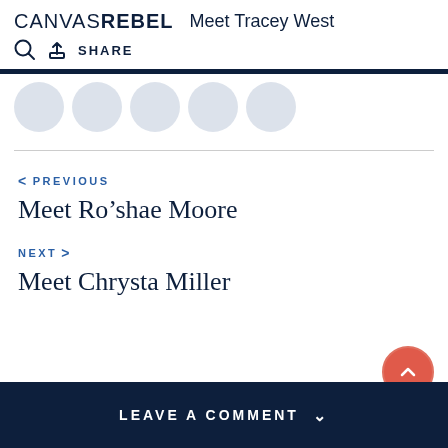CANVAS REBEL  Meet Tracey West
SHARE
< PREVIOUS
Meet Ro'shae Moore
NEXT >
Meet Chrysta Miller
LEAVE A COMMENT